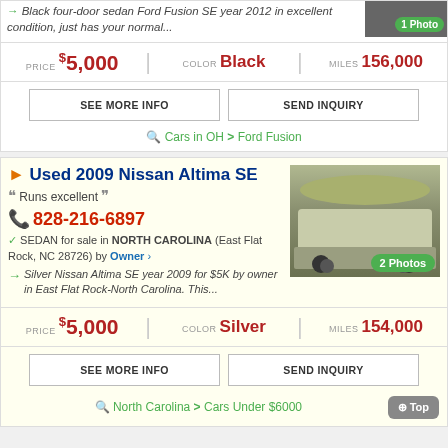Black four-door sedan Ford Fusion SE year 2012 in excellent condition, just has your normal...
PRICE $5,000 | COLOR Black | MILES 156,000
SEE MORE INFO | SEND INQUIRY
Cars in OH > Ford Fusion
Used 2009 Nissan Altima SE
Runs excellent
828-216-6897
SEDAN for sale in NORTH CAROLINA (East Flat Rock, NC 28726) by Owner
Silver Nissan Altima SE year 2009 for $5K by owner in East Flat Rock-North Carolina. This...
[Figure (photo): Silver Nissan Altima SE parked in driveway]
PRICE $5,000 | COLOR Silver | MILES 154,000
SEE MORE INFO | SEND INQUIRY
North Carolina > Cars Under $6000